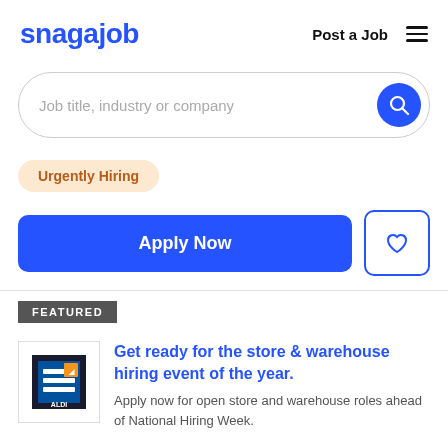snagajob  Post a Job
[Figure (screenshot): Search bar with placeholder 'Job title, industry or company' and a blue circular search button]
Urgently Hiring
[Figure (other): Apply Now button (blue) and a heart/favorite button (outlined)]
FEATURED
[Figure (logo): ALDI logo]
Get ready for the store & warehouse hiring event of the year.
Apply now for open store and warehouse roles ahead of National Hiring Week.